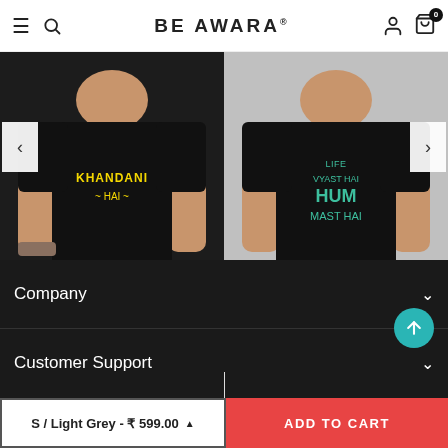BE AWARA
[Figure (photo): Black T-shirt with yellow text reading KHANDANI HAI on front, worn by a male model]
[Figure (photo): Black T-shirt with green text reading LIFE VYAST HAI HUM MAST HAI on front, worn by a male model]
Attitude Mera Khandani Hai Half Sle...
★★★★★ 1 review
₹ 699.00  ₹ 599.00
Hum Mast Hai Half Sleeve T-Shirt F...
₹ 699.00  ₹ 599.00
Company
Customer Support
S / Light Grey - ₹ 599.00
ADD TO CART